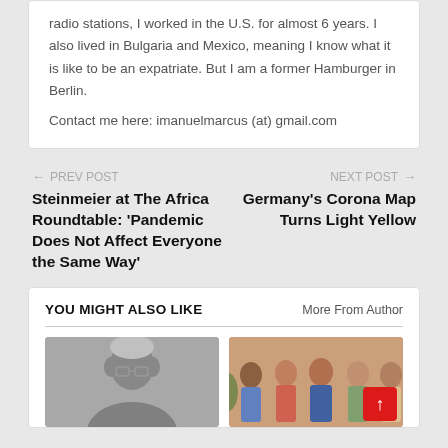radio stations, I worked in the U.S. for almost 6 years. I also lived in Bulgaria and Mexico, meaning I know what it is like to be an expatriate. But I am a former Hamburger in Berlin.
Contact me here: imanuelmarcus (at) gmail.com
← PREV POST
Steinmeier at The Africa Roundtable: 'Pandemic Does Not Affect Everyone the Same Way'
NEXT POST →
Germany's Corona Map Turns Light Yellow
YOU MIGHT ALSO LIKE
More From Author
[Figure (photo): Black and white photo of an elderly man with glasses]
[Figure (photo): Color photo of a group of people standing together at an event, with a red scroll-to-top button overlay]